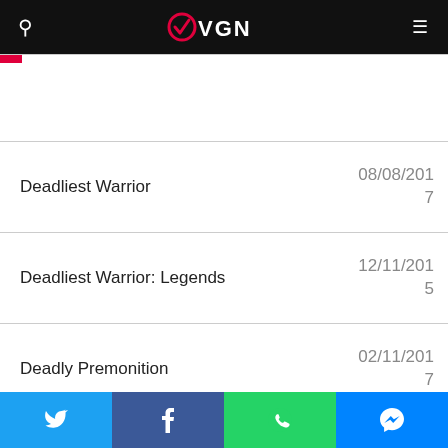OVEN
| Title | Date |
| --- | --- |
| Deadliest Warrior | 08/08/2017 |
| Deadliest Warrior: Legends | 12/11/2015 |
| Deadly Premonition | 02/11/2017 |